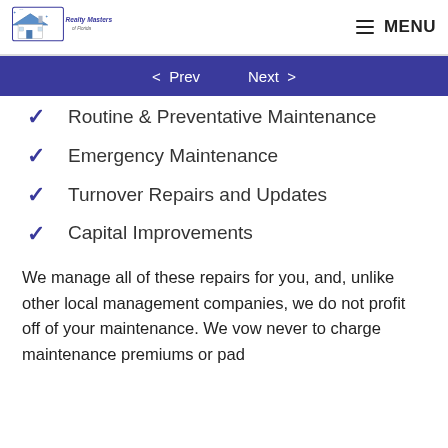Realty Masters of Florida | MENU
Routine & Preventative Maintenance
Emergency Maintenance
Turnover Repairs and Updates
Capital Improvements
We manage all of these repairs for you, and, unlike other local management companies, we do not profit off of your maintenance. We vow never to charge maintenance premiums or pad